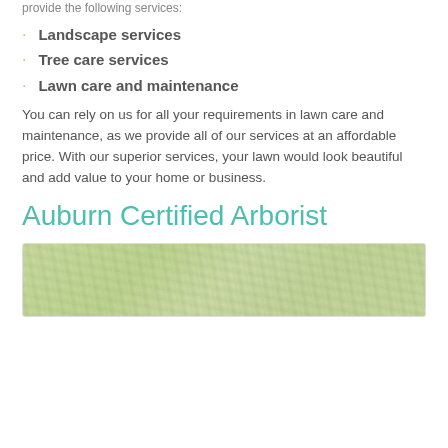provide the following services:
Landscape services
Tree care services
Lawn care and maintenance
You can rely on us for all your requirements in lawn care and maintenance, as we provide all of our services at an affordable price. With our superior services, your lawn would look beautiful and add value to your home or business.
Auburn Certified Arborist
[Figure (photo): Outdoor nature/tree scene with green foliage, partially visible at bottom of page]